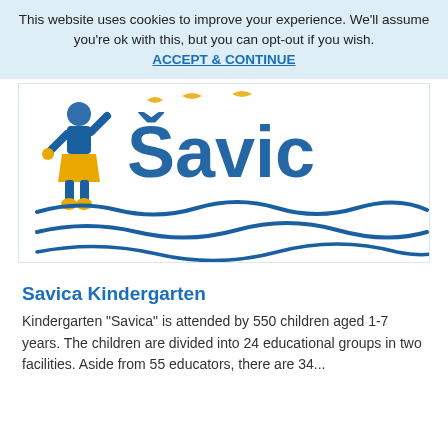This website uses cookies to improve your experience. We'll assume you're ok with this, but you can opt-out if you wish. ACCEPT & CONTINUE
[Figure (logo): Savica Kindergarten logo showing a child figure on a blue background with 'Savica' text in blue letters and decorative wave lines below]
Savica Kindergarten
Kindergarten "Savica" is attended by 550 children aged 1-7 years. The children are divided into 24 educational groups in two facilities. Aside from 55 educators, there are 34...